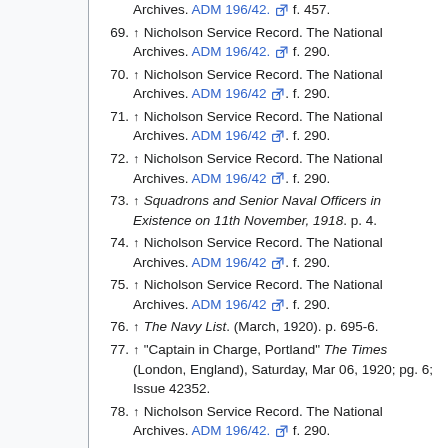Archives. ADM 196/42. [external link] f. 457.
69. ↑ Nicholson Service Record. The National Archives. ADM 196/42. [external link] f. 290.
70. ↑ Nicholson Service Record. The National Archives. ADM 196/42 [external link]. f. 290.
71. ↑ Nicholson Service Record. The National Archives. ADM 196/42 [external link]. f. 290.
72. ↑ Nicholson Service Record. The National Archives. ADM 196/42 [external link]. f. 290.
73. ↑ Squadrons and Senior Naval Officers in Existence on 11th November, 1918. p. 4.
74. ↑ Nicholson Service Record. The National Archives. ADM 196/42 [external link]. f. 290.
75. ↑ Nicholson Service Record. The National Archives. ADM 196/42 [external link]. f. 290.
76. ↑ The Navy List. (March, 1920). p. 695-6.
77. ↑ "Captain in Charge, Portland" The Times (London, England), Saturday, Mar 06, 1920; pg. 6; Issue 42352.
78. ↑ Nicholson Service Record. The National Archives. ADM 196/42. [external link] f. 290.
79. ↑ Nicholson Service Record. The National Archives. ADM 196/42 [external link]. f. 290.
80. ↑ Nicholson Service Record. The National Archives. ADM 196/42. [external link] f. 290.
81. ↑ Nicholson Service Record. The National Archives. ADM 196/42 [external link]. f. 290.